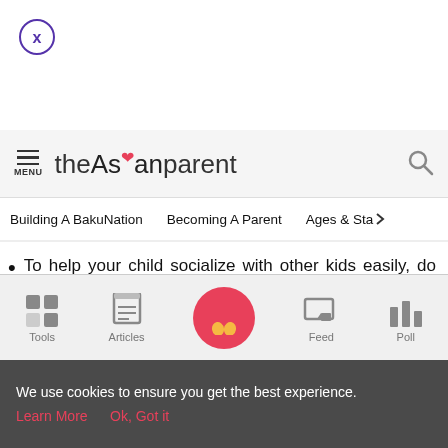[Figure (other): Close button - circle with X]
theAsianparent — MENU, search icon
Building A BakuNation   Becoming A Parent   Ages & Sta >
To help your child socialize with other kids easily, do some role-playing at home. Read books about going to school and making friends.
Talk about different scenarios that he may encounter
Tools  Articles  [home icon]  Feed  Poll
We use cookies to ensure you get the best experience.
Learn More   Ok, Got it